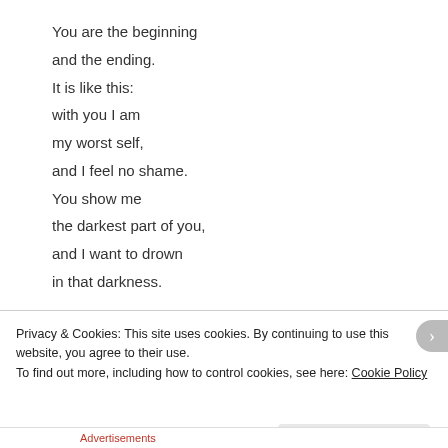You are the beginning
and the ending.
It is like this:
with you I am
my worst self,
and I feel no shame.
You show me
the darkest part of you,
and I want to drown
in that darkness.
Privacy & Cookies: This site uses cookies. By continuing to use this website, you agree to their use.
To find out more, including how to control cookies, see here: Cookie Policy
Close and accept
Advertisements